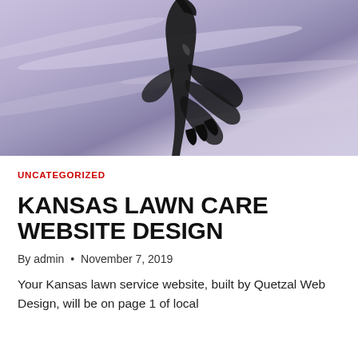[Figure (photo): A dark bird silhouette (appears to be a pelican or large bird) against a purple and lavender twilight sky with streaked clouds]
UNCATEGORIZED
KANSAS LAWN CARE WEBSITE DESIGN
By admin • November 7, 2019
Your Kansas lawn service website, built by Quetzal Web Design, will be on page 1 of local